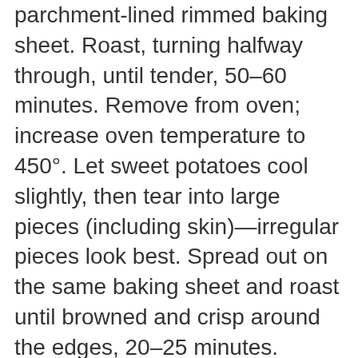parchment-lined rimmed baking sheet. Roast, turning halfway through, until tender, 50–60 minutes. Remove from oven; increase oven temperature to 450°. Let sweet potatoes cool slightly, then tear into large pieces (including skin)—irregular pieces look best. Spread out on the same baking sheet and roast until browned and crisp around the edges, 20–25 minutes.
2. Combine yogurt, chile, lemon zest, and lemon juice in a medium bowl; season with kosher salt. Coarsely crush sesame seeds on a cutting board with a flat-bottomed mug (or leave them whole).
3. Spread chile yogurt on a platter; top